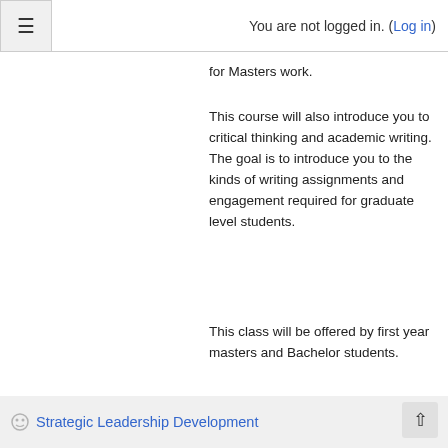You are not logged in. (Log in)
for Masters work.
This course will also introduce you to critical thinking and academic writing. The goal is to introduce you to the kinds of writing assignments and engagement required for graduate level students.
This class will be offered by first year masters and Bachelor students.
Strategic Leadership Development